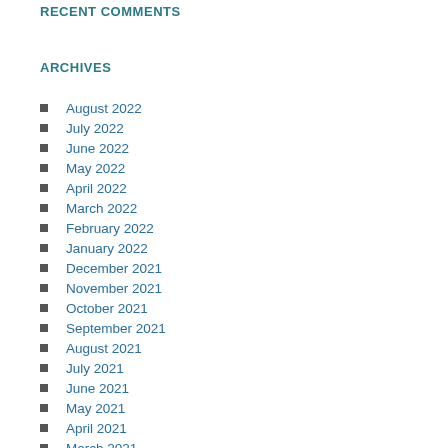RECENT COMMENTS
ARCHIVES
August 2022
July 2022
June 2022
May 2022
April 2022
March 2022
February 2022
January 2022
December 2021
November 2021
October 2021
September 2021
August 2021
July 2021
June 2021
May 2021
April 2021
March 2021
February 2021